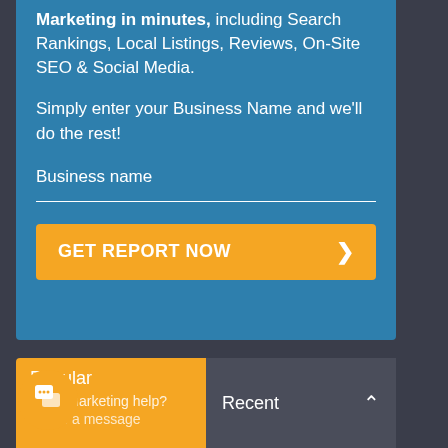Marketing in minutes, including Search Rankings, Local Listings, Reviews, On-Site SEO & Social Media.
Simply enter your Business Name and we'll do the rest!
Business name
GET REPORT NOW ›
Popular
Need marketing help?
Leave a message
Recent